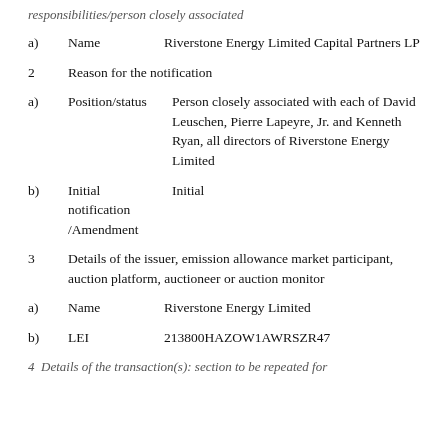responsibilities/person closely associated
a) Name   Riverstone Energy Limited Capital Partners LP
2 Reason for the notification
a) Position/status   Person closely associated with each of David Leuschen, Pierre Lapeyre, Jr. and Kenneth Ryan, all directors of Riverstone Energy Limited
b) Initial notification /Amendment   Initial
3 Details of the issuer, emission allowance market participant, auction platform, auctioneer or auction monitor
a) Name   Riverstone Energy Limited
b) LEI   213800HAZOW1AWRSZR47
4 Details of the transaction(s): section to be repeated for